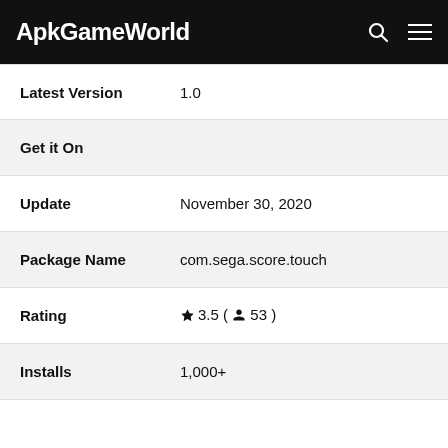ApkGameWorld
| Field | Value |
| --- | --- |
| Latest Version | 1.0 |
| Get it On |  |
| Update | November 30, 2020 |
| Package Name | com.sega.score.touch |
| Rating | ★ 3.5 ( 👤 53 ) |
| Installs | 1,000+ |